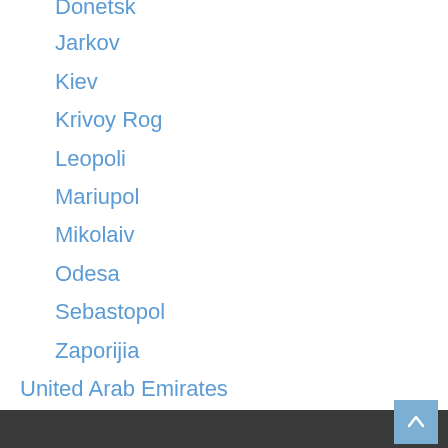Donetsk
Jarkov
Kiev
Krivoy Rog
Leopoli
Mariupol
Mikolaiv
Odesa
Sebastopol
Zaporijia
United Arab Emirates
United Kingdom
USA